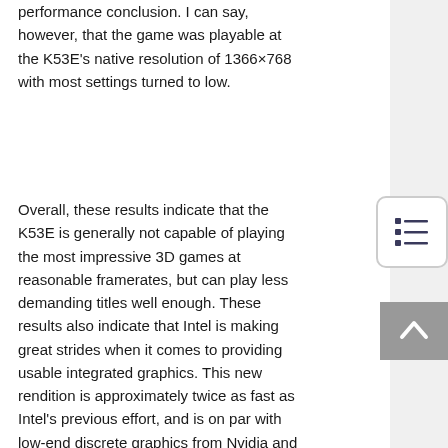performance conclusion. I can say, however, that the game was playable at the K53E's native resolution of 1366×768 with most settings turned to low.
Overall, these results indicate that the K53E is generally not capable of playing the most impressive 3D games at reasonable framerates, but can play less demanding titles well enough. These results also indicate that Intel is making great strides when it comes to providing usable integrated graphics. This new rendition is approximately twice as fast as Intel's previous effort, and is on par with low-end discrete graphics from Nvidia and AMD.